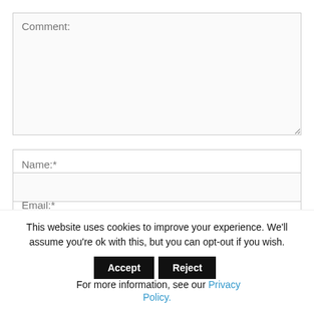Comment:
Name:*
Email:*
This website uses cookies to improve your experience. We'll assume you're ok with this, but you can opt-out if you wish.
For more information, see our Privacy Policy.